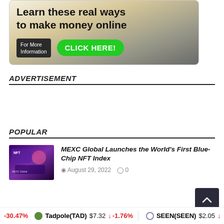[Figure (illustration): Advertisement banner showing text 'Learn these real ways to make money online' with cash/money imagery, a dark button 'For More Information' and a green button 'CLICK HERE!']
ADVERTISEMENT
POPULAR
[Figure (photo): MEXC Global NFT Index article thumbnail, purple background with NFT-related illustration]
MEXC Global Launches the World's First Blue-Chip NFT Index
August 29, 2022  0
-30.47%  Tadpole(TAD) $7.32 ↓ -1.76%  SEEN(SEEN) $2.05 ↓